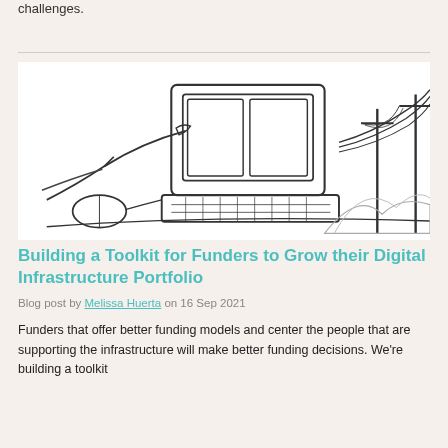challenges.
[Figure (illustration): Line drawing illustration of hands using a vintage desktop computer with CRT monitor, connected by cables to utility poles in a landscape background.]
Building a Toolkit for Funders to Grow their Digital Infrastructure Portfolio
Blog post by Melissa Huerta on 16 Sep 2021
Funders that offer better funding models and center the people that are supporting the infrastructure will make better funding decisions. We're building a toolkit